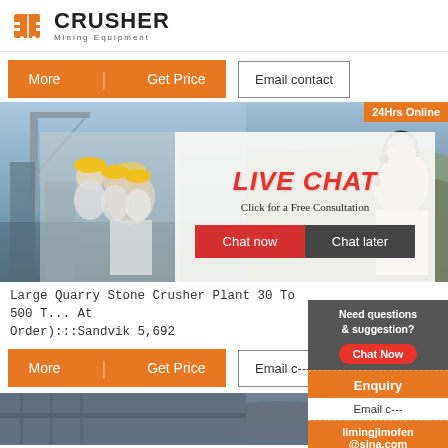[Figure (logo): Crusher Mining Equipment logo with orange shopping bag icon and bold text]
More | Get Price
Email contact
[Figure (photo): Construction site workers in hard hats and customer service rep with headset — Live Chat popup overlay with 'LIVE CHAT / Click for a Free Consultation / Chat now / Chat later' buttons. Badge: '24Hrs Online']
Large Quarry Stone Crusher Plant 30 To 500 T... At Order):::Sandvik 5,692
More | Get Price
Email c...
[Figure (infographic): Sidebar panel: Need questions & suggestion? Chat Now (oval button). Enquiry section. limingjlmofen@sina.com]
[Figure (photo): Bottom row: two product/site images cropped]